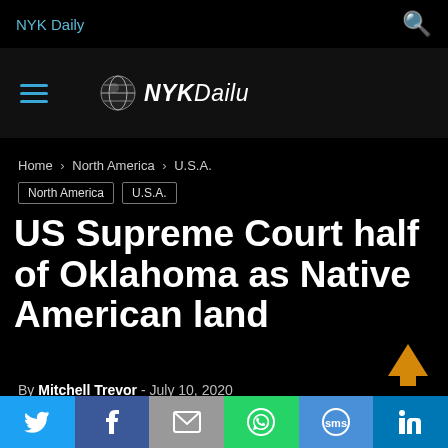NYK Daily
[Figure (logo): NYKDaily globe logo with text 'NYKDaily']
Home › North America › U.S.A.
North America  U.S.A.
US Supreme Court half of Oklahoma as Native American land
By Mitchell Trevor - July 10, 2020
[Figure (infographic): Social sharing bar with Twitter, Facebook, Email, WhatsApp, SMS, LinkedIn buttons]